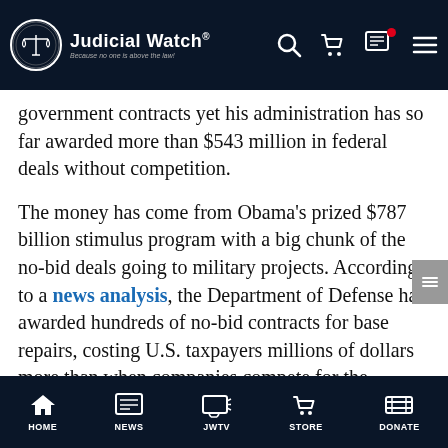Judicial Watch — Because no one is above the law!
government contracts yet his administration has so far awarded more than $543 million in federal deals without competition.
The money has come from Obama's prized $787 billion stimulus program with a big chunk of the no-bid deals going to military projects. According to a news analysis, the Department of Defense has awarded hundreds of no-bid contracts for base repairs, costing U.S. taxpayers millions of dollars more than when companies compete for the coveted deals.
HOME  NEWS  JWTV  STORE  DONATE